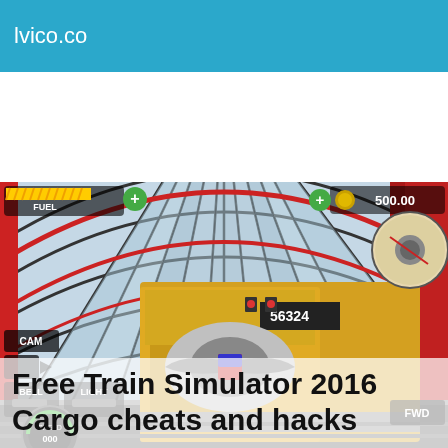lvico.co
[Figure (screenshot): Screenshot of Train Simulator 2016 Cargo mobile game showing a yellow locomotive (numbered 56324) inside a large arched glass-roof train station. Game UI elements visible include FUEL gauge top-left, coin counter showing 500.00 top-right, CAM button, BELL and LIGHT buttons bottom-left, speedometer showing 000 bottom-left, FWD button bottom-right, and a circular radar/map in the top-right corner.]
Free Train Simulator 2016 Cargo cheats and hacks